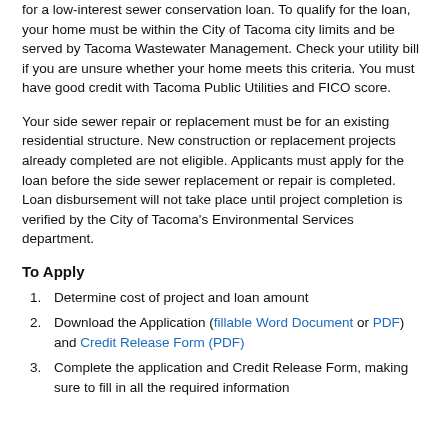for a low-interest sewer conservation loan. To qualify for the loan, your home must be within the City of Tacoma city limits and be served by Tacoma Wastewater Management. Check your utility bill if you are unsure whether your home meets this criteria. You must have good credit with Tacoma Public Utilities and FICO score.
Your side sewer repair or replacement must be for an existing residential structure. New construction or replacement projects already completed are not eligible. Applicants must apply for the loan before the side sewer replacement or repair is completed. Loan disbursement will not take place until project completion is verified by the City of Tacoma's Environmental Services department.
To Apply
Determine cost of project and loan amount
Download the Application (fillable Word Document or PDF) and Credit Release Form (PDF)
Complete the application and Credit Release Form, making sure to fill in all the required information